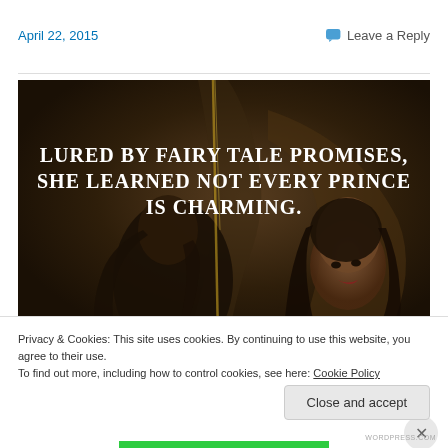April 22, 2015
Leave a Reply
[Figure (photo): Dark atmospheric image of a young woman near a mirror with white serif text overlay reading: LURED BY FAIRY TALE PROMISES, SHE LEARNED NOT EVERY PRINCE IS CHARMING.]
Privacy & Cookies: This site uses cookies. By continuing to use this website, you agree to their use.
To find out more, including how to control cookies, see here: Cookie Policy
Close and accept